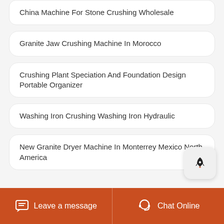China Machine For Stone Crushing Wholesale
Granite Jaw Crushing Machine In Morocco
Crushing Plant Speciation And Foundation Design Portable Organizer
Washing Iron Crushing Washing Iron Hydraulic
New Granite Dryer Machine In Monterrey Mexico North America
Leave a message   Chat Online